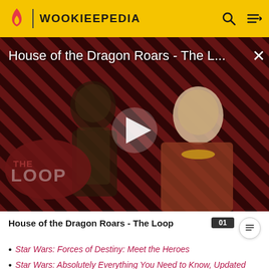WOOKIEEPEDIA
[Figure (screenshot): Video thumbnail for 'House of the Dragon Roars - The Loop' showing two characters against a diagonal red and black striped background with a play button overlay and 'THE LOOP' branding]
House of the Dragon Roars - The Loop
Star Wars: Forces of Destiny: Meet the Heroes
Star Wars: Absolutely Everything You Need to Know, Updated and Expanded